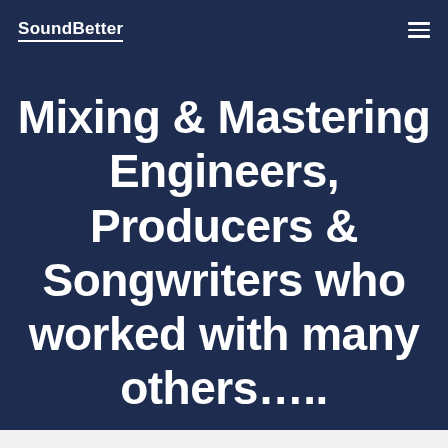SoundBetter
Mixing & Mastering Engineers, Producers & Songwriters who worked with many others…..